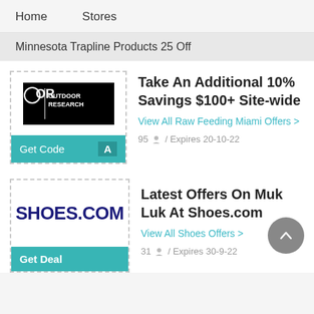Home   Stores
Minnesota Trapline Products 25 Off
[Figure (logo): Outdoor Research logo - black background with OR text and OUTDOOR RESEARCH text]
Take An Additional 10% Savings $100+ Site-wide
View All Raw Feeding Miami Offers >
95  /  Expires 20-10-22
[Figure (logo): SHOES.COM logo in dark navy bold text]
Latest Offers On Muk Luk At Shoes.com
View All Shoes Offers >
31  /  Expires 30-9-22